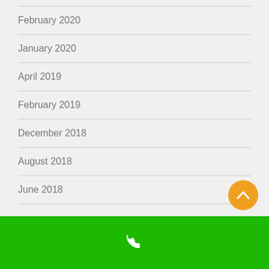February 2020
January 2020
April 2019
February 2019
December 2018
August 2018
June 2018
phone icon, scroll-up button